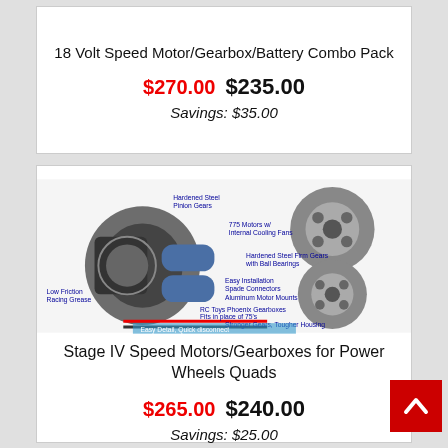18 Volt Speed Motor/Gearbox/Battery Combo Pack
$270.00  $235.00
Savings: $35.00
[Figure (photo): Product photo of Stage IV Speed Motors/Gearboxes with labeled parts including Hardened Steel Pinion Gears, 775 Motors w/ Internal Cooling Fans, Hardened Steel Firm Gears with Ball Bearings, Easy Installation Spade Connectors, Aluminum Motor Mounts, Low Friction Racing Grease, RC Toys Phoenix Gearboxes fits in place of 75's stronger gears, Tougher Housing, Better Lubricating, Easy Detail, Quick disconnect Motor Wires]
Stage IV Speed Motors/Gearboxes for Power Wheels Quads
$265.00  $240.00
Savings: $25.00